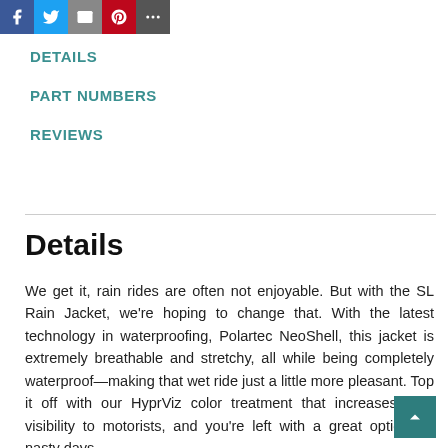[Figure (infographic): Social sharing icon bar with Facebook (blue), Twitter (light blue), Email (grey), Pinterest (red), and More (dark grey) buttons]
DETAILS
PART NUMBERS
REVIEWS
Details
We get it, rain rides are often not enjoyable. But with the SL Rain Jacket, we're hoping to change that. With the latest technology in waterproofing, Polartec NeoShell, this jacket is extremely breathable and stretchy, all while being completely waterproof—making that wet ride just a little more pleasant. Top it off with our HyprViz color treatment that increases your visibility to motorists, and you're left with a great option for nasty days.